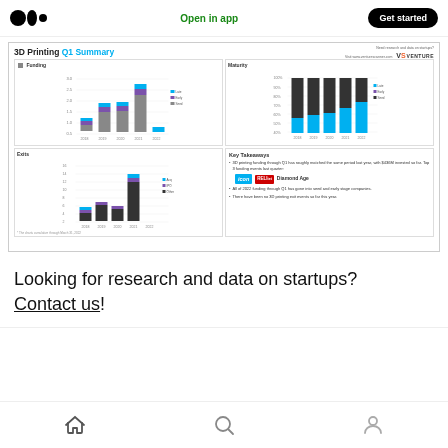Open in app | Get started
[Figure (infographic): 3D Printing Q1 Summary infographic from Venture Scanner showing Funding stacked bar chart (2018-2022), Maturity stacked bar chart (2018-2022), Exits bar chart (2018-2022), and Key Takeaways section with bullet points about 3D printing funding and exit data.]
Looking for research and data on startups?
Contact us!
Home | Search | Profile